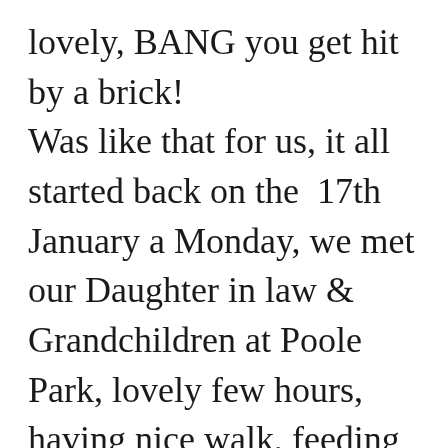lovely, BANG you get hit by a brick! Was like that for us, it all started back on the 17th January a Monday, we met our Daughter in law & Grandchildren at Poole Park, lovely few hours, having nice walk, feeding the Ducks and playing in play area, popped in to Café for a cuppa before we parted company. Had bite to eat